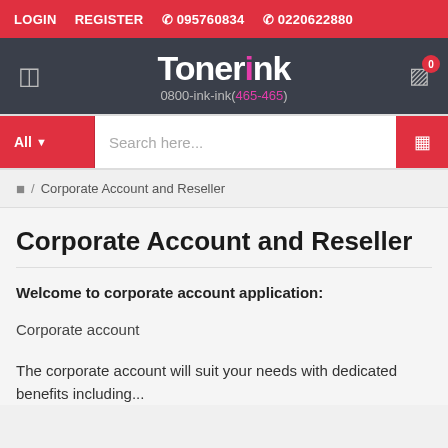LOGIN   REGISTER   095760834   0220622880
[Figure (logo): Tonerink logo with tagline 0800-ink-ink(465-465) on dark background]
All  Search here...
Home / Corporate Account and Reseller
Corporate Account and Reseller
Welcome to corporate account application:
Corporate account
The corporate account will suit your needs with dedicated benefits including...